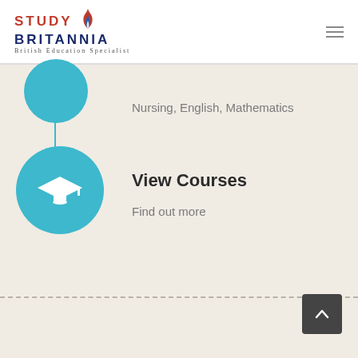[Figure (logo): Study Britannia logo with flame icon and tagline 'British Education Specialist']
Nursing, English, Mathematics
[Figure (illustration): Large teal circle with white graduation cap icon]
View Courses
Find out more
[Figure (illustration): Dark grey back-to-top button with upward chevron arrow]